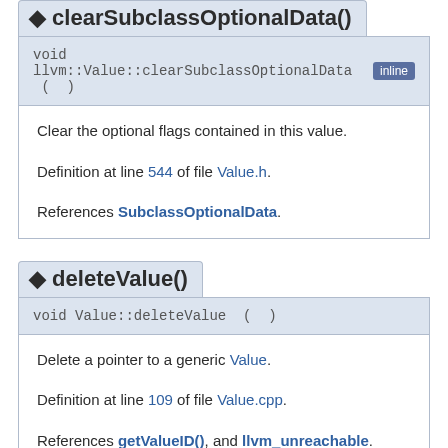clearSubclassOptionalData()
void llvm::Value::clearSubclassOptionalData ( )
Clear the optional flags contained in this value.
Definition at line 544 of file Value.h.
References SubclassOptionalData.
deleteValue()
void Value::deleteValue ( )
Delete a pointer to a generic Value.
Definition at line 109 of file Value.cpp.
References getValueID(), and llvm_unreachable.
Referenced by llvm::BitcodeReaderValueList::assignValue().